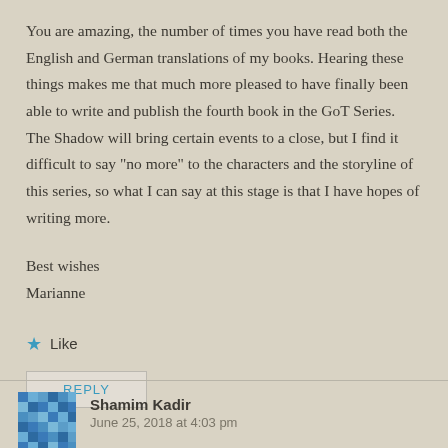You are amazing, the number of times you have read both the English and German translations of my books. Hearing these things makes me that much more pleased to have finally been able to write and publish the fourth book in the GoT Series. The Shadow will bring certain events to a close, but I find it difficult to say "no more" to the characters and the storyline of this series, so what I can say at this stage is that I have hopes of writing more.
Best wishes
Marianne
Like
REPLY
Shamim Kadir
June 25, 2018 at 4:03 pm